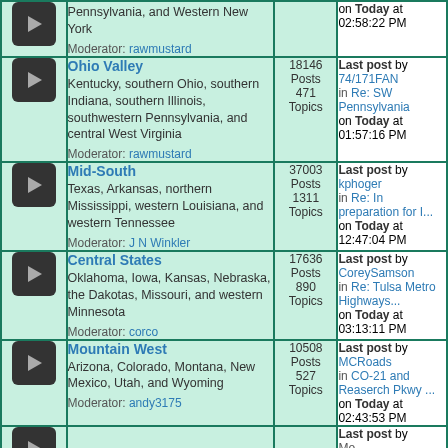| Icon | Forum | Stats | Last Post |
| --- | --- | --- | --- |
| → | Ohio Valley
Kentucky, southern Ohio, southern Indiana, southern Illinois, southwestern Pennsylvania, and central West Virginia
Moderator: rawmustard | 18146 Posts 471 Topics | Last post by 74/171FAN in Re: SW Pennsylvania on Today at 01:57:16 PM |
| → | Mid-South
Texas, Arkansas, northern Mississippi, western Louisiana, and western Tennessee
Moderator: J N Winkler | 37003 Posts 1311 Topics | Last post by kphoger in Re: In preparation for I... on Today at 12:47:04 PM |
| → | Central States
Oklahoma, Iowa, Kansas, Nebraska, the Dakotas, Missouri, and western Minnesota
Moderator: corco | 17636 Posts 890 Topics | Last post by CoreySamson in Re: Tulsa Metro Highways... on Today at 03:13:11 PM |
| → | Mountain West
Arizona, Colorado, Montana, New Mexico, Utah, and Wyoming
Moderator: andy3175 | 10508 Posts 527 Topics | Last post by MCRoads in CO-21 and Reaserch Pkwy ... on Today at 02:43:53 PM |
| → |  |  | Last post by Mo... |